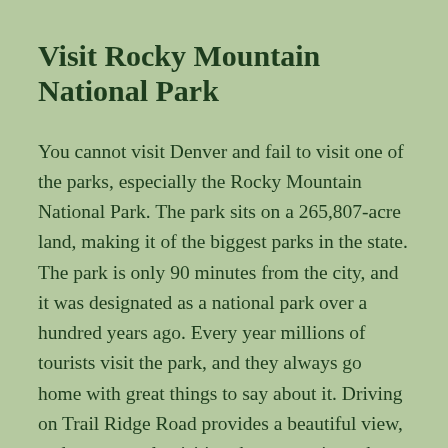Visit Rocky Mountain National Park
You cannot visit Denver and fail to visit one of the parks, especially the Rocky Mountain National Park. The park sits on a 265,807-acre land, making it of the biggest parks in the state. The park is only 90 minutes from the city, and it was designated as a national park over a hundred years ago. Every year millions of tourists visit the park, and they always go home with great things to say about it. Driving on Trail Ridge Road provides a beautiful view, and most people visiting the mountain park use the road. Apart from the beautiful views,